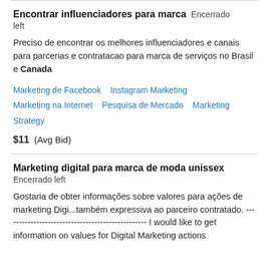Encontrar influenciadores para marca  Encerrado left
Preciso de encontrar os melhores influenciadores e canais para parcerias e contratacao para marca de serviços no Brasil e Canada
Marketing de Facebook   Instagram Marketing   Marketing na Internet   Pesquisa de Mercado   Marketing Strategy
$11  (Avg Bid)
Marketing digital para marca de moda unissex  Encerrado left
Gostaria de obter informações sobre valores para ações de marketing Digi...também expressiva ao parceiro contratado. ------------------------------------------------- I would like to get information on values for Digital Marketing actions